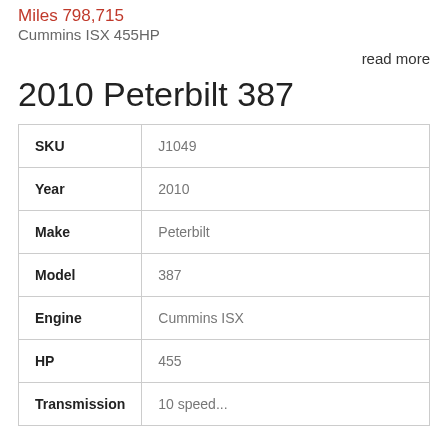Miles 798,715
Cummins ISX 455HP
read more
2010 Peterbilt 387
| Field | Value |
| --- | --- |
| SKU | J1049 |
| Year | 2010 |
| Make | Peterbilt |
| Model | 387 |
| Engine | Cummins ISX |
| HP | 455 |
| Transmission | (cut off) |